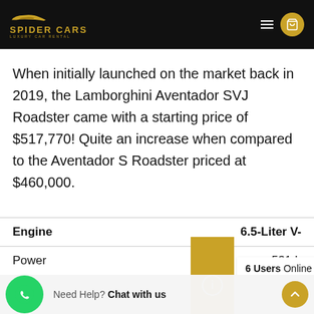Spider Cars Luxury Car Rental
When initially launched on the market back in 2019, the Lamborghini Aventador SVJ Roadster came with a starting price of $517,770! Quite an increase when compared to the Aventador S Roadster priced at $460,000.
|  |  |
| --- | --- |
| Engine | 6.5-Liter V- |
| Power | 531 L... |